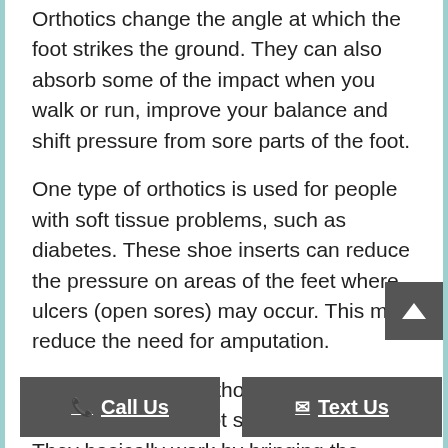Orthotics change the angle at which the foot strikes the ground. They can also absorb some of the impact when you walk or run, improve your balance and shift pressure from sore parts of the foot.
One type of orthotics is used for people with soft tissue problems, such as diabetes. These shoe inserts can reduce the pressure on areas of the feet where ulcers (open sores) may occur. This may reduce the need for amputation.
The other type of orthotics is designed to improve how the foot strikes the ground. They basically work by bringing the ground up to the foot. These can also be used to treat conditions such as tendinitis and shin splints.
For example, people whose ankle rolls inward as they walk or — m tics to keep th leg s can